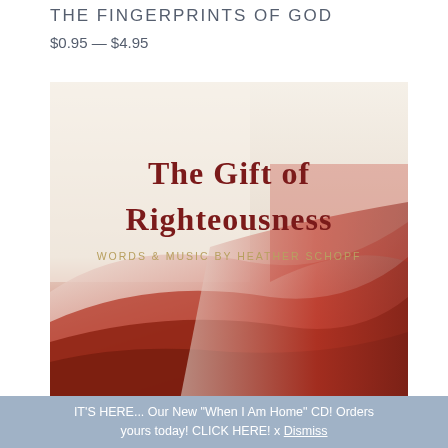THE FINGERPRINTS OF GOD
$0.95 — $4.95
[Figure (photo): Album cover for 'The Gift of Righteousness' — Words & Music by Heather Schopf. White and cream background with bold dark red serif text, gold subtitle text, and an abstract red and white flowing wave design in the lower half.]
IT'S HERE... Our New "When I Am Home" CD! Orders yours today! CLICK HERE! x Dismiss